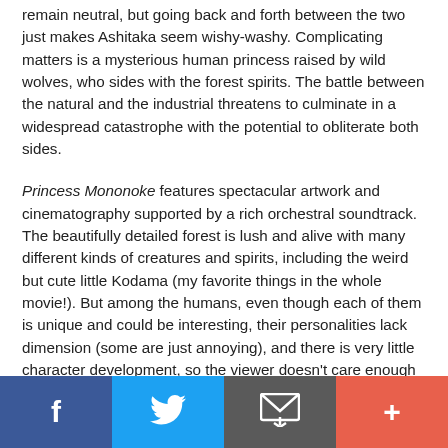remain neutral, but going back and forth between the two just makes Ashitaka seem wishy-washy. Complicating matters is a mysterious human princess raised by wild wolves, who sides with the forest spirits. The battle between the natural and the industrial threatens to culminate in a widespread catastrophe with the potential to obliterate both sides.
Princess Mononoke features spectacular artwork and cinematography supported by a rich orchestral soundtrack. The beautifully detailed forest is lush and alive with many different kinds of creatures and spirits, including the weird but cute little Kodama (my favorite things in the whole movie!). But among the humans, even though each of them is unique and could be interesting, their personalities lack dimension (some are just annoying), and there is very little character development, so the viewer doesn't care enough about them to really root for anyone.
f  [twitter bird]  [envelope]  +